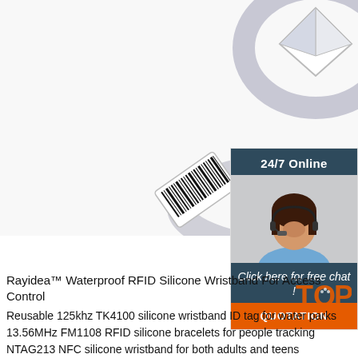[Figure (photo): Silver diamond engagement ring with a barcode tag attached to it, on white background]
[Figure (infographic): 24/7 Online chat widget sidebar with a female customer service agent wearing a headset, dark teal header saying '24/7 Online', italic white text 'Click here for free chat!', and orange button 'QUOTATION']
Rayidea™ Waterproof RFID Silicone Wristband For Access Control
Reusable 125khz TK4100 silicone wristband ID tag for water parks
13.56MHz FM1108 RFID silicone bracelets for people tracking
NTAG213 NFC silicone wristband for both adults and teens